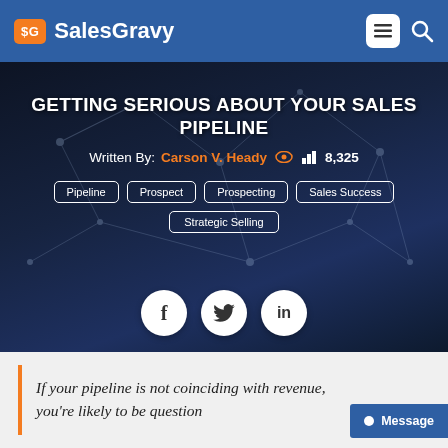$G SalesGravy
GETTING SERIOUS ABOUT YOUR SALES PIPELINE
Written By: Carson V. Heady  8,325
Pipeline
Prospect
Prospecting
Sales Success
Strategic Selling
[Figure (other): Three social sharing circle icons: Facebook (f), Twitter (bird), LinkedIn (in)]
If your pipeline is not coinciding with revenue, you're likely to be question